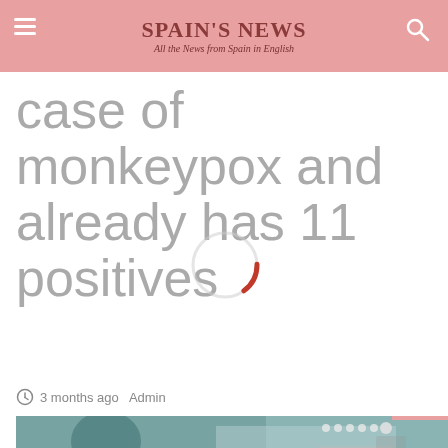Spain's News — All the News from Spain in English
case of monkeypox and already has 11 positives
3 months ago  Admin
[Figure (photo): Medical/laboratory setting photo, partially visible, showing a person in medical attire]